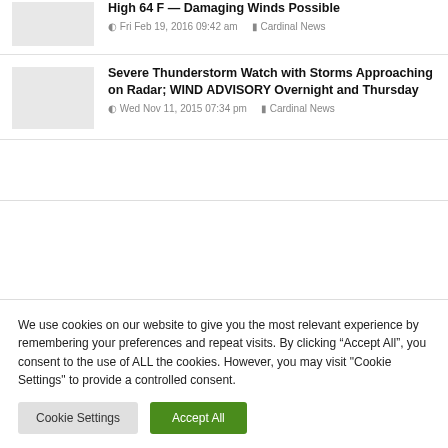High 64 F — Damaging Winds Possible
Fri Feb 19, 2016 09:42 am   Cardinal News
Severe Thunderstorm Watch with Storms Approaching on Radar; WIND ADVISORY Overnight and Thursday
Wed Nov 11, 2015 07:34 pm   Cardinal News
We use cookies on our website to give you the most relevant experience by remembering your preferences and repeat visits. By clicking “Accept All”, you consent to the use of ALL the cookies. However, you may visit "Cookie Settings" to provide a controlled consent.